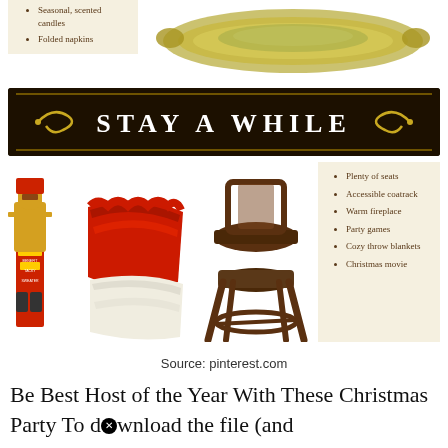Seasonal, scented candles
Folded napkins
[Figure (photo): Green/gold decorative serving tray]
[Figure (photo): Dark wood banner sign reading STAY A WHILE with gold swirl decorations]
[Figure (photo): Christmas party items: nutcracker figurine, red throw blanket, white throw blanket, bar stool chair]
Plenty of seats
Accessible coatrack
Warm fireplace
Party games
Cozy throw blankets
Christmas movie
Source: pinterest.com
Be Best Host of the Year With These Christmas Party To dⓧwnload the file (and